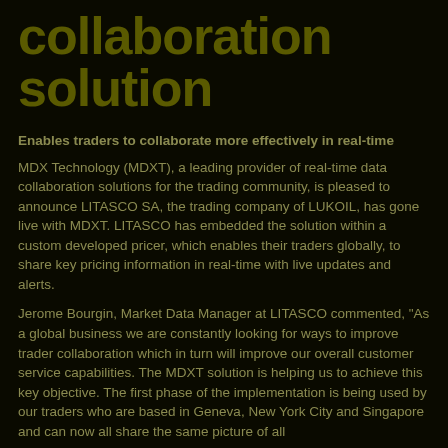collaboration solution
Enables traders to collaborate more effectively in real-time
MDX Technology (MDXT), a leading provider of real-time data collaboration solutions for the trading community, is pleased to announce LITASCO SA, the trading company of LUKOIL, has gone live with MDXT. LITASCO has embedded the solution within a custom developed pricer, which enables their traders globally, to share key pricing information in real-time with live updates and alerts.
Jerome Bourgin, Market Data Manager at LITASCO commented, "As a global business we are constantly looking for ways to improve trader collaboration which in turn will improve our overall customer service capabilities. The MDXT solution is helping us to achieve this key objective. The first phase of the implementation is being used by our traders who are based in Geneva, New York City and Singapore and can now all share the same picture of all